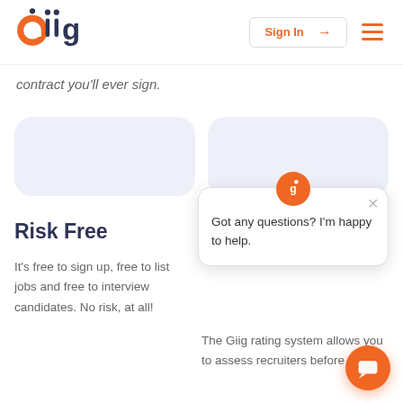[Figure (logo): Giig logo with orange 'g' and dark grey 'iig' text]
Sign In →
contract you'll ever sign.
Risk Free
It's free to sign up, free to list jobs and free to interview candidates. No risk, at all!
The Giig rating system allows you to assess recruiters before cho...
Got any questions? I'm happy to help.